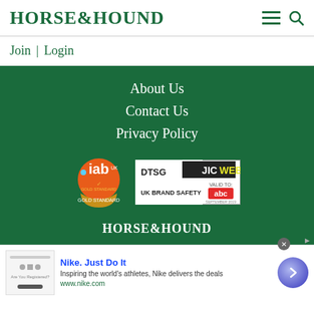HORSE&HOUND
Join | Login
About Us
Contact Us
Privacy Policy
[Figure (logo): IAB UK gold standard badge - orange circular badge with iab branding and gold award ribbon]
[Figure (logo): DTSG JIC WEBS UK Brand Safety badge with ABC valid to September 2019]
HORSE&HOUND
[Figure (screenshot): Nike advertisement banner - Nike. Just Do It. Inspiring the world's athletes, Nike delivers the deals. www.nike.com]